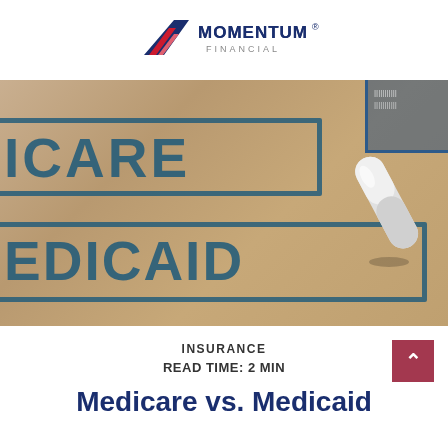Momentum Financial
[Figure (photo): Close-up photo of rubber stamps on cardboard surface showing 'MEDICARE' and 'MEDICAID' in dark blue stamp text, with a white capsule pill resting on the surface between the stamps. The background is a tan/kraft cardboard color.]
INSURANCE
READ TIME: 2 MIN
Medicare vs. Medicaid